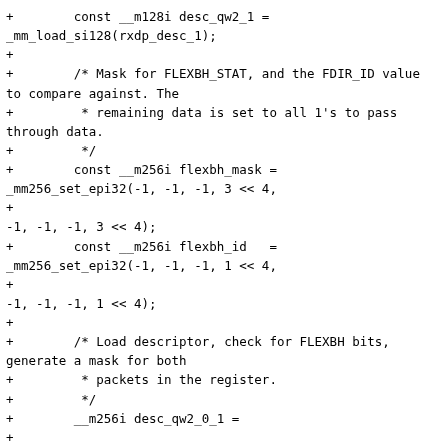+        const __m128i desc_qw2_1 =
_mm_load_si128(rxdp_desc_1);
+
+        /* Mask for FLEXBH_STAT, and the FDIR_ID value
to compare against. The
+         * remaining data is set to all 1's to pass
through data.
+         */
+        const __m256i flexbh_mask =
_mm256_set_epi32(-1, -1, -1, 3 << 4,
+
-1, -1, -1, 3 << 4);
+        const __m256i flexbh_id   =
_mm256_set_epi32(-1, -1, -1, 1 << 4,
+
-1, -1, -1, 1 << 4);
+
+        /* Load descriptor, check for FLEXBH bits,
generate a mask for both
+         * packets in the register.
+         */
+        __m256i desc_qw2_0_1 =
+
_mm256_inserti128_si256(_mm256_castsi128_si256(desc_qw2_0
+                                              desc_qw2_1, 1);
+        __m256i desc_tmp_msk =
_mm256_and_si256(flexbh_mask, desc_qw2_0_1);
+        __m256i fdir_mask =
_mm256_cmpeq_epi32(flexbh_id, desc_tmp_msk);
+        m256i fdir_data =